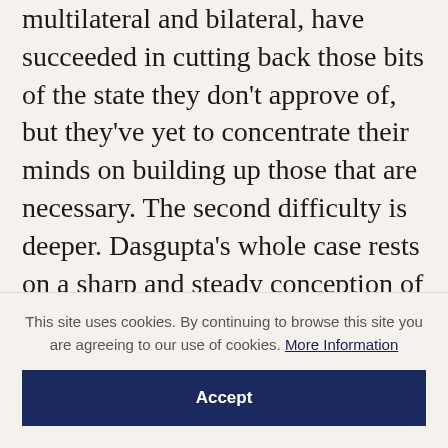multilateral and bilateral, have succeeded in cutting back those bits of the state they don't approve of, but they've yet to concentrate their minds on building up those that are necessary. The second difficulty is deeper. Dasgupta's whole case rests on a sharp and steady conception of the distinction between the public realm and the private, but this distinction is unsteady in the South. States which once thought of almost everything as public are on the way out. Of the smaller ones, only Cuba and North Korea remain,
This site uses cookies. By continuing to browse this site you are agreeing to our use of cookies. More Information
Accept